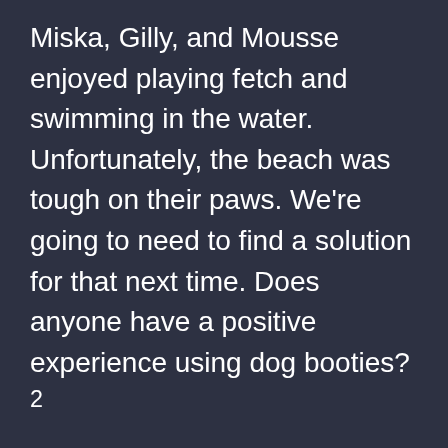Miska, Gilly, and Mousse enjoyed playing fetch and swimming in the water. Unfortunately, the beach was tough on their paws. We're going to need to find a solution for that next time. Does anyone have a positive experience using dog booties?²
Some went to the obsidian flow nearby and everyone went to Paulina Falls. Every evening, we went to the beach to watch the sunset. The Whitewater Fire near Jefferson made a smokey sunset our first night, but slight winds from the east cleared up the rest of the